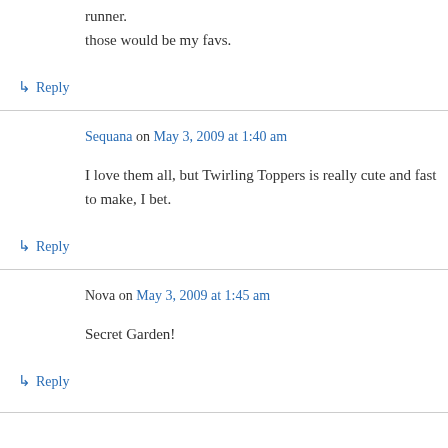runner.
those would be my favs.
↳ Reply
Sequana on May 3, 2009 at 1:40 am
I love them all, but Twirling Toppers is really cute and fast to make, I bet.
↳ Reply
Nova on May 3, 2009 at 1:45 am
Secret Garden!
↳ Reply